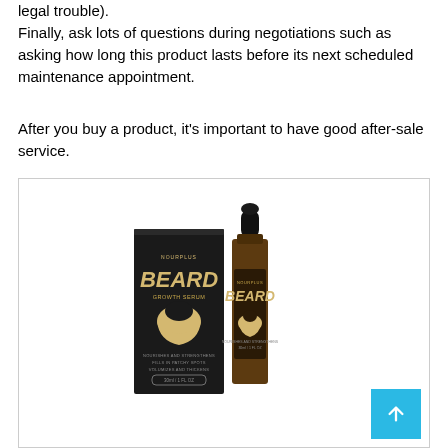legal trouble).
Finally, ask lots of questions during negotiations such as asking how long this product lasts before its next scheduled maintenance appointment.
After you buy a product, it's important to have good after-sale service.
[Figure (photo): A black box of Beard Growth Serum product next to a dark amber dropper bottle, both with gold text branding reading 'BEARD' on a white background inside a bordered image box.]